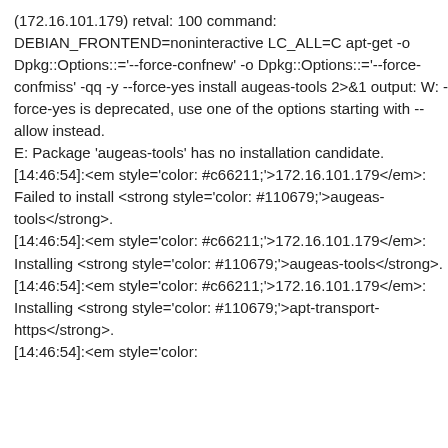(172.16.101.179) retval: 100 command: DEBIAN_FRONTEND=noninteractive LC_ALL=C apt-get -o Dpkg::Options::='--force-confnew' -o Dpkg::Options::='--force-confmiss' -qq -y --force-yes install augeas-tools 2>&1 output: W: --force-yes is deprecated, use one of the options starting with --allow instead.
E: Package 'augeas-tools' has no installation candidate.
[14:46:54]:<em style='color: #c66211;'>172.16.101.179</em>: Failed to install <strong style='color: #110679;'>augeas-tools</strong>.
[14:46:54]:<em style='color: #c66211;'>172.16.101.179</em>: Installing <strong style='color: #110679;'>augeas-tools</strong>.
[14:46:54]:<em style='color: #c66211;'>172.16.101.179</em>: Installing <strong style='color: #110679;'>apt-transport-https</strong>.
[14:46:54]:<em style='color: #c66211;